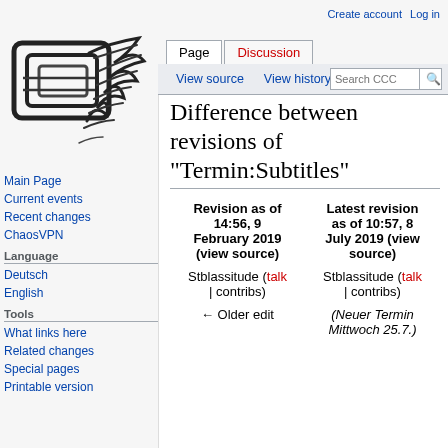Create account  Log in
[Figure (logo): CCC wiki logo - stylized overlapping rectangles with feather/plant motif in black and white]
Main Page
Current events
Recent changes
ChaosVPN
Language
Deutsch
English
Tools
What links here
Related changes
Special pages
Printable version
Difference between revisions of "Termin:Subtitles"
| Revision as of 14:56, 9 February 2019 (view source) | Latest revision as of 10:57, 8 July 2019 (view source) |
| --- | --- |
| Stblassitude (talk | contribs) | Stblassitude (talk | contribs) |
| ← Older edit | (Neuer Termin Mittwoch 25.7.) |